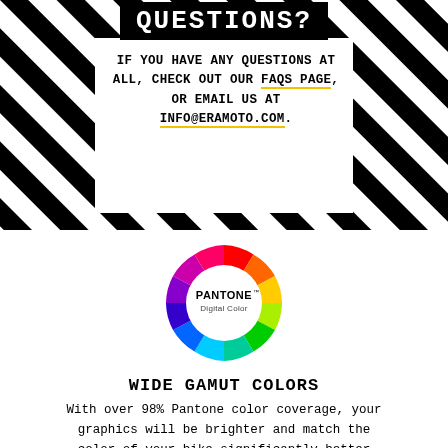QUESTIONS?
IF YOU HAVE ANY QUESTIONS AT ALL, CHECK OUT OUR FAQS PAGE, OR EMAIL US AT INFO@ERAMOTO.COM.
[Figure (logo): Pantone Digital Color rainbow circle logo with color wheel ring and white center containing PANTONE Digital Color text]
WIDE GAMUT COLORS
With over 98% Pantone color coverage, your graphics will be brighter and match the color of your bike significantly better